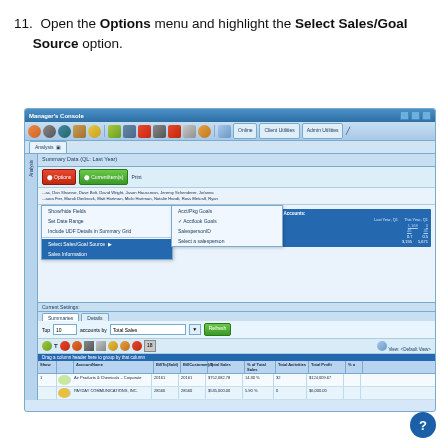11. Open the Options menu and highlight the Select Sales/Goal Source option.
[Figure (screenshot): Screenshot of Manager's Console application showing the Options menu expanded with 'Select Sales/Goal Source' highlighted, and a submenu showing options: Acct/Pkg Goals, Acctfook Goals (checked), SalespersonID, Select a salesperson. The main window shows summary data with sales figures and account activity information at the bottom.]